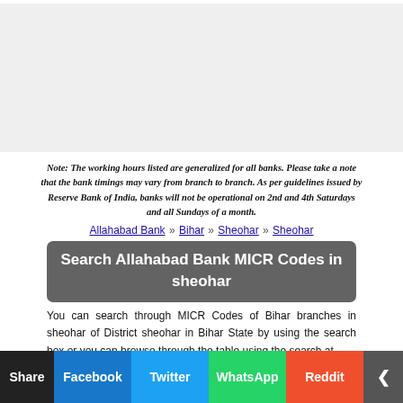[Figure (other): Advertisement placeholder rectangle with light grey background]
Note: The working hours listed are generalized for all banks. Please take a note that the bank timings may vary from branch to branch. As per guidelines issued by Reserve Bank of India, banks will not be operational on 2nd and 4th Saturdays and all Sundays of a month.
Allahabad Bank » Bihar » Sheohar » Sheohar
Search Allahabad Bank MICR Codes in sheohar
You can search through MICR Codes of Bihar branches in sheohar of District sheohar in Bihar State by using the search box or you can browse through the table using the search at
Share | Facebook | Twitter | WhatsApp | Reddit